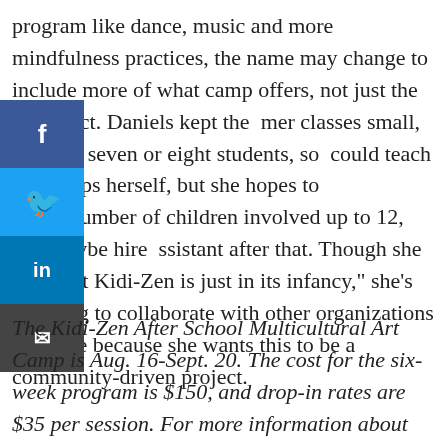program like dance, music and more mindfulness practices, the name may change to include more of what camp offers, not just the art aspect. Daniels kept the mer classes small, at about seven or eight students, so could teach the camps herself, but she hopes to bring number of children involved up to 12, and maybe hire ssistant after that. Though she says that Kidi-Zen is just in its infancy," she's planning to collaborate with other organizations in future because she wants this to be a community-driven project.
[Figure (other): Social media sharing buttons: Facebook, Twitter, LinkedIn, Email]
The Kidi-Zen After School Multicultural Art Camp is Aug. 16-Sept. 20. The cost for the six-week program is $150, and drop-in rates are $35 per session. For more information about Jax-Zen Float (155 Wesley Ave.) and the